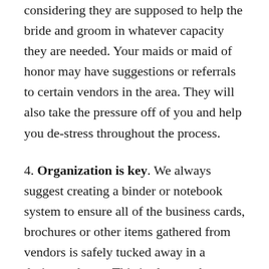considering they are supposed to help the bride and groom in whatever capacity they are needed. Your maids or maid of honor may have suggestions or referrals to certain vendors in the area. They will also take the pressure off of you and help you de-stress throughout the process.
4. Organization is key. We always suggest creating a binder or notebook system to ensure all of the business cards, brochures or other items gathered from vendors is safely tucked away in a designated area. This is also good to house any inspiration ideas or photos and things to convey your wants or ideas to